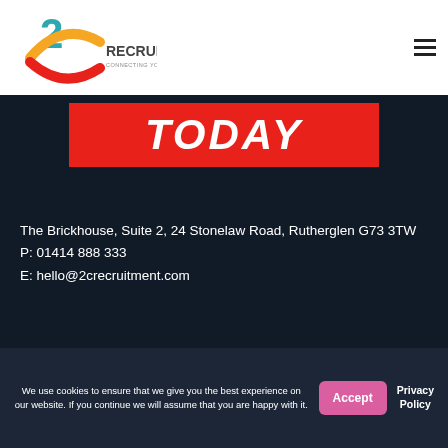[Figure (logo): 2C Recruitment logo — teal '2', orange arc, red arc forming a 'C', text 'RECRUITMENT' and 'CONNECTING YOU WITH TALENT']
TODAY
The Brickhouse, Suite 2, 24 Stonelaw Road, Rutherglen G73 3TW
P: 01414 888 333
E: hello@2crecruitment.com
We use cookies to ensure that we give you the best experience on our website. If you continue we will assume that you are happy with it.
Accept
Privacy Policy